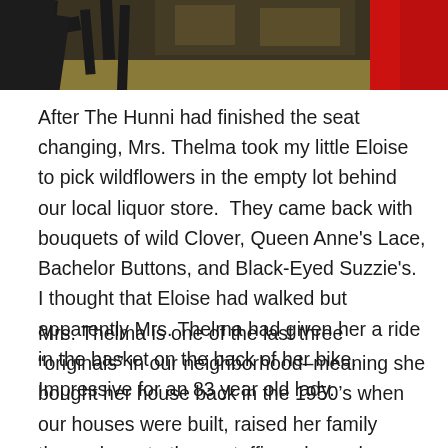[Figure (photo): Partial view of a red and black bicycle, showing the frame and wheel against an outdoor background with grass/ground visible.]
After The Hunni had finished the seat changing, Mrs. Thelma took my little Eloise to pick wildflowers in the empty lot behind our local liquor store.  They came back with bouquets of wild Clover, Queen Anne’s Lace, Bachelor Buttons, and Black-Eyed Suzzie’s.  I thought that Eloise had walked but apparently Mrs. Thelma had given her a ride in the basket on the back of her bike.  Impressive for an 83 year old lady.
Mrs. Thelma is one of the last three “originals” in our neighborhood–meaning she bought her house back in the 1950’s when our houses were built, raised her family there, drove to the postoffice where she worked from that house, buried her husband and one of her two boys, and still lives there.  I enjoy hearing the history of our town and